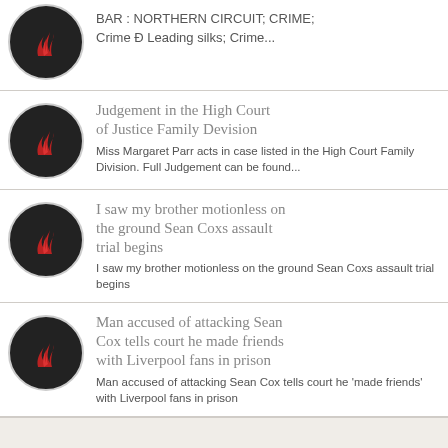BAR : NORTHERN CIRCUIT; CRIME; Crime Ð Leading silks; Crime...
Judgement in the High Court of Justice Family Devision
Miss Margaret Parr acts in case listed in the High Court Family Division. Full Judgement can be found...
I saw my brother motionless on the ground Sean Coxs assault trial begins
I saw my brother motionless on the ground Sean Coxs assault trial begins
Man accused of attacking Sean Cox tells court he made friends with Liverpool fans in prison
Man accused of attacking Sean Cox tells court he 'made friends' with Liverpool fans in prison